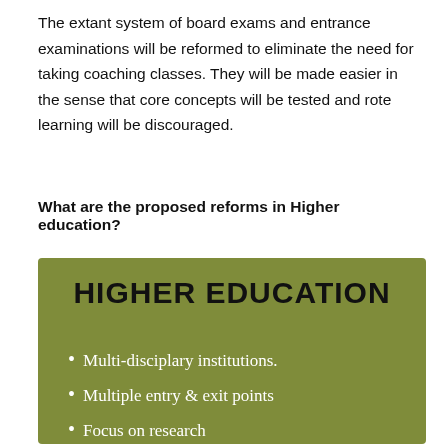The extant system of board exams and entrance examinations will be reformed to eliminate the need for taking coaching classes. They will be made easier in the sense that core concepts will be tested and rote learning will be discouraged.
What are the proposed reforms in Higher education?
[Figure (infographic): Green box titled HIGHER EDUCATION with bullet points: Multi-disciplary institutions., Multiple entry & exit points, Focus on research, No M.Phil, Single Regulator]